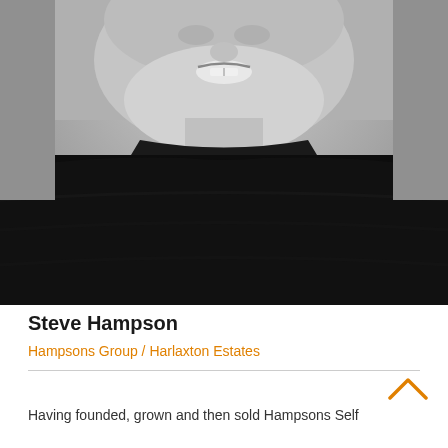[Figure (photo): Black and white headshot photo of Steve Hampson, a middle-aged man smiling, wearing a black turtleneck sweater. The photo shows his face and upper body against a neutral grey background.]
Steve Hampson
Hampsons Group / Harlaxton Estates
Having founded, grown and then sold Hampsons Self